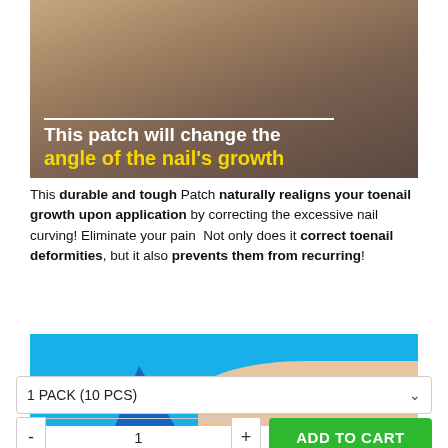[Figure (photo): Close-up photo of toes/toenails with overlay text: 'This patch will change the angle of the nail's growth']
This durable and tough Patch naturally realigns your toenail growth upon application by correcting the excessive nail curving! Eliminate your pain  Not only does it correct toenail deformities, but it also prevents them from recurring!
[Figure (photo): Partial product image showing blue background with flesh-colored foot and a blue triangular shape]
1 PACK (10 PCS)
- 1 + ADD TO CART